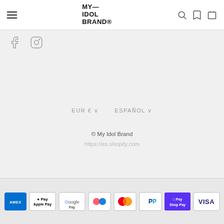MY— IDOL BRAND® [navigation header with hamburger menu, logo, search and cart icons]
[Figure (logo): Facebook icon (f) and Instagram icon (circle with camera) social media links]
EUR € ∨   ESPAÑOL ∨
© My Idol Brand
https://es.shopify.com
[Figure (infographic): Payment method icons: American Express (AMEX blue), Apple Pay, Google Pay, Klarna/multi-color dots, Mastercard, PayPal, Shop Pay (purple), Visa]